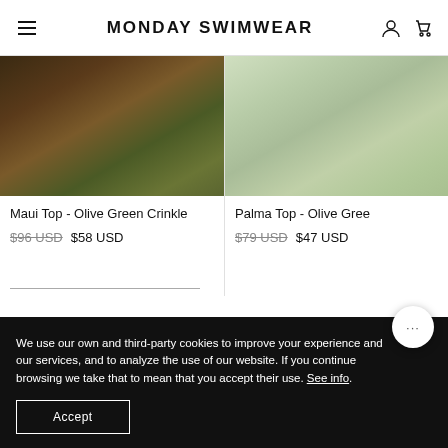MONDAY SWIMWEAR
[Figure (photo): Product photo of Maui Top - Olive Green Crinkle swimwear top, showing dark earthy tones with foliage in background]
Maui Top - Olive Green Crinkle
$96 USD  $58 USD
[Figure (photo): Product photo of Palma Top - Olive Green swimwear top on model, light green background]
Palma Top - Olive Gree
$79 USD  $47 USD
We use our own and third-party cookies to improve your experience and our services, and to analyze the use of our website. If you continue browsing we take that to mean that you accept their use. See info.
Accept